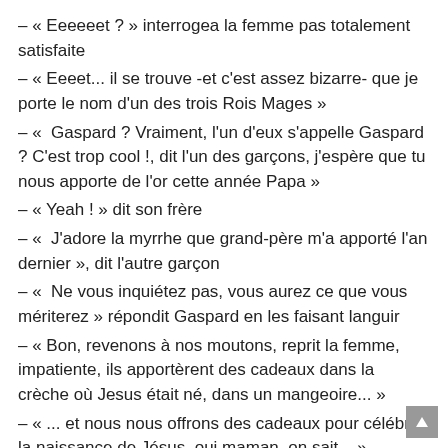– « Eeeeeet ? » interrogea la femme pas totalement satisfaite
– « Eeeet... il se trouve -et c'est assez bizarre- que je porte le nom d'un des trois Rois Mages »
– «  Gaspard ? Vraiment, l'un d'eux s'appelle Gaspard ? C'est trop cool !, dit l'un des garçons, j'espère que tu nous apporte de l'or cette année Papa »
– « Yeah ! » dit son frère
– «  J'adore la myrrhe que grand-père m'a apporté l'an dernier », dit l'autre garçon
– «  Ne vous inquiétez pas, vous aurez ce que vous mériterez » répondit Gaspard en les faisant languir
– « Bon, revenons à nos moutons, reprit la femme, impatiente, ils apportèrent des cadeaux dans la crèche où Jesus était né, dans un mangeoire... »
– « ... et nous nous offrons des cadeaux pour célébrer la naissance de Jésus, oui maman, on sait... »
– « Ahhh » dit la petite fille, « donc c'est pas à cause du sapin de Noël ? »
– « Pfffff » dit un des garçons à sa sœur